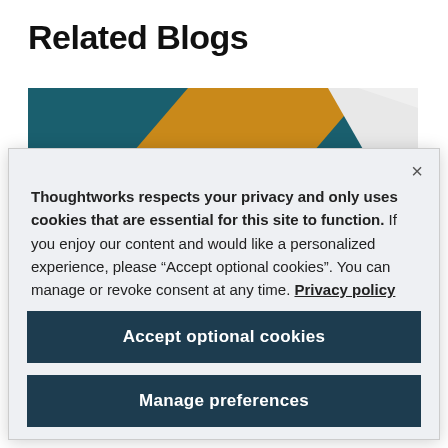Related Blogs
[Figure (illustration): Decorative blog header image with teal, gold, and white geometric diagonal shapes]
Thoughtworks respects your privacy and only uses cookies that are essential for this site to function. If you enjoy our content and would like a personalized experience, please “Accept optional cookies”. You can manage or revoke consent at any time. Privacy policy
Accept optional cookies
Manage preferences